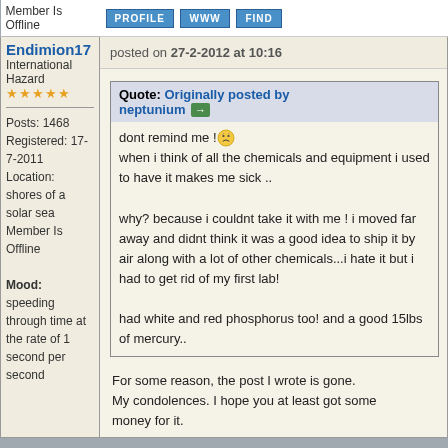Member Is Offline
PROFILE  WWW  FIND
Endimion17
International Hazard
★★★★★
Posts: 1468
Registered: 17-7-2011
Location: shores of a solar sea
Member Is Offline
Mood: speeding through time at the rate of 1 second per second
posted on 27-2-2012 at 10:16
Quote: Originally posted by neptunium
dont remind me !
when i think of all the chemicals and equipment i used to have it makes me sick ..
why? because i couldnt take it with me ! i moved far away and didnt think it was a good idea to ship it by air along with a lot of other chemicals...i hate it but i had to get rid of my first lab!
had white and red phosphorus too! and a good 15lbs of mercury..
For some reason, the post I wrote is gone. My condolences. I hope you at least got some money for it.